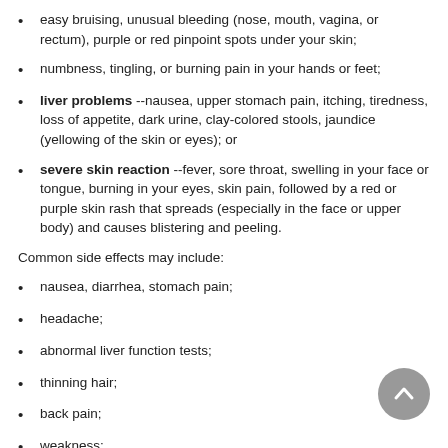easy bruising, unusual bleeding (nose, mouth, vagina, or rectum), purple or red pinpoint spots under your skin;
numbness, tingling, or burning pain in your hands or feet;
liver problems --nausea, upper stomach pain, itching, tiredness, loss of appetite, dark urine, clay-colored stools, jaundice (yellowing of the skin or eyes); or
severe skin reaction --fever, sore throat, swelling in your face or tongue, burning in your eyes, skin pain, followed by a red or purple skin rash that spreads (especially in the face or upper body) and causes blistering and peeling.
Common side effects may include:
nausea, diarrhea, stomach pain;
headache;
abnormal liver function tests;
thinning hair;
back pain;
weakness;
rash; or